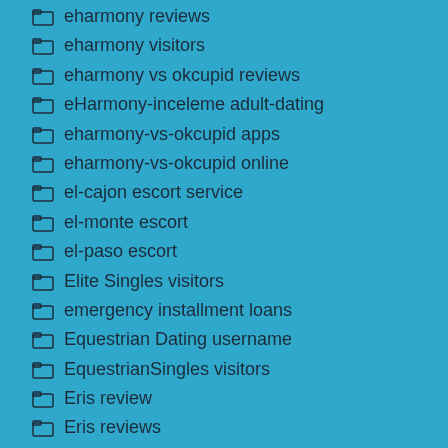eharmony reviews
eharmony visitors
eharmony vs okcupid reviews
eHarmony-inceleme adult-dating
eharmony-vs-okcupid apps
eharmony-vs-okcupid online
el-cajon escort service
el-monte escort
el-paso escort
Elite Singles visitors
emergency installment loans
Equestrian Dating username
EquestrianSingles visitors
Eris review
Eris reviews
Eris visitors
erisdating review
escort escort index
escort escort near me
escort review
escort the escort
essay writing services